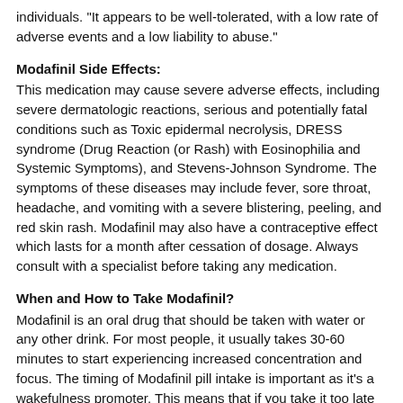individuals. "It appears to be well-tolerated, with a low rate of adverse events and a low liability to abuse."
Modafinil Side Effects:
This medication may cause severe adverse effects, including severe dermatologic reactions, serious and potentially fatal conditions such as Toxic epidermal necrolysis, DRESS syndrome (Drug Reaction (or Rash) with Eosinophilia and Systemic Symptoms), and Stevens-Johnson Syndrome. The symptoms of these diseases may include fever, sore throat, headache, and vomiting with a severe blistering, peeling, and red skin rash. Modafinil may also have a contraceptive effect which lasts for a month after cessation of dosage. Always consult with a specialist before taking any medication.
When and How to Take Modafinil?
Modafinil is an oral drug that should be taken with water or any other drink. For most people, it usually takes 30-60 minutes to start experiencing increased concentration and focus. The timing of Modafinil pill intake is important as it's a wakefulness promoter. This means that if you take it too late in the day you might not be able to fall asleep in the evening. Taking Modafinil drug before 9 AM can help you prevent the risk of insomnia as the side effects of Modafinil on sleeping and concentration wear off after 12 to 13 hours. If you take Modafinil for